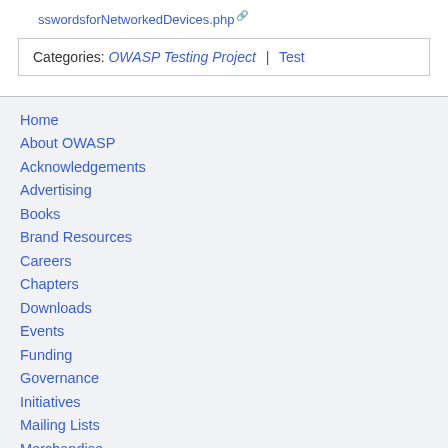sswordsforNetworkedDevices.php
Categories:  OWASP Testing Project | Test
Home
About OWASP
Acknowledgements
Advertising
Books
Brand Resources
Careers
Chapters
Downloads
Events
Funding
Governance
Initiatives
Mailing Lists
Merchandise
Presentations
Press